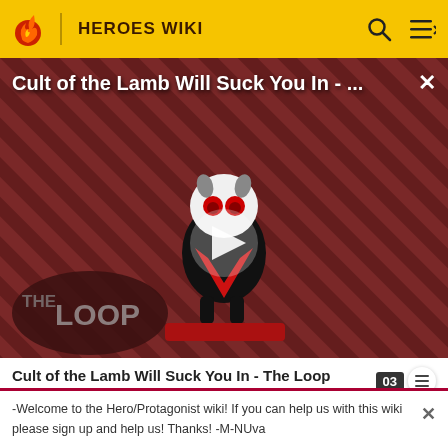HEROES WIKI
[Figure (screenshot): Video thumbnail showing a cartoon lamb character on a diagonal red/dark striped background with 'THE LOOP' watermark and a play button overlay. Title reads 'Cult of the Lamb Will Suck You In - ...']
Cult of the Lamb Will Suck You In - The Loop
called Aerialbots. He can transform into an F-15 Eagle i
-Welcome to the Hero/Protagonist wiki! If you can help us with this wiki please sign up and help us! Thanks! -M-NUva